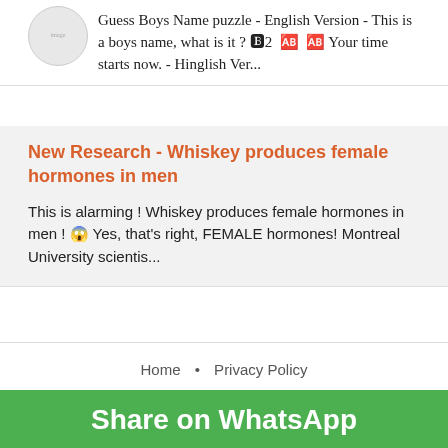Guess Boys Name puzzle - English Version - This is a boys name, what is it ? 🅱2  🆎  🆎 Your time starts now. - Hinglish Ver...
New Research - Whiskey produces female hormones in men
This is alarming ! Whiskey produces female hormones in men ! 😱 Yes, that's right, FEMALE hormones! Montreal University scientis...
Home • Privacy Policy
Copyright © 2022 Desi Jokes - Funny Jokes - Hindi Jokes - Whatsapp Jokes • All Rights Reserved • Designed By Blogtipsntricks
Share on WhatsApp